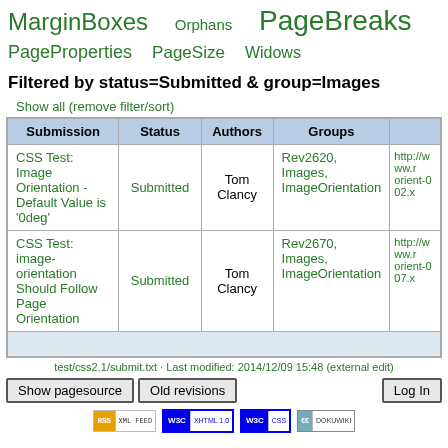MarginBoxes  Orphans  PageBreaks  PageProperties  PageSize  Widows
Filtered by status=Submitted & group=Images
Show all (remove filter/sort)
| Submission | Status | Authors | Groups |  |
| --- | --- | --- | --- | --- |
| CSS Test: Image Orientation - Default Value is '0deg' | Submitted | Tom Clancy | Rev2620, Images, ImageOrientation | http://www.r orient-002.x |
| CSS Test: image-orientation Should Follow Page Orientation | Submitted | Tom Clancy | Rev2670, Images, ImageOrientation | http://www.r orient-007.x |
test/css2.1/submit.txt · Last modified: 2014/12/09 15:48 (external edit)
Show pagesource   Old revisions   Log In